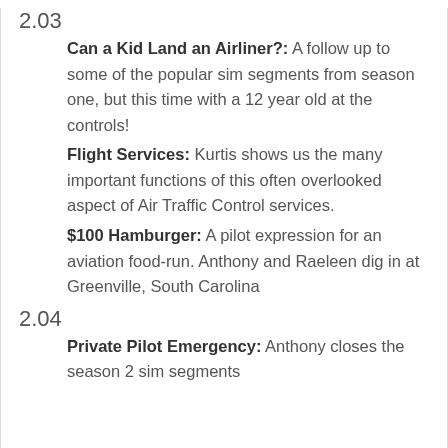2.03
Can a Kid Land an Airliner?: A follow up to some of the popular sim segments from season one, but this time with a 12 year old at the controls!
Flight Services: Kurtis shows us the many important functions of this often overlooked aspect of Air Traffic Control services.
$100 Hamburger: A pilot expression for an aviation food-run. Anthony and Raeleen dig in at Greenville, South Carolina
2.04
Private Pilot Emergency: Anthony closes the season 2 sim segments